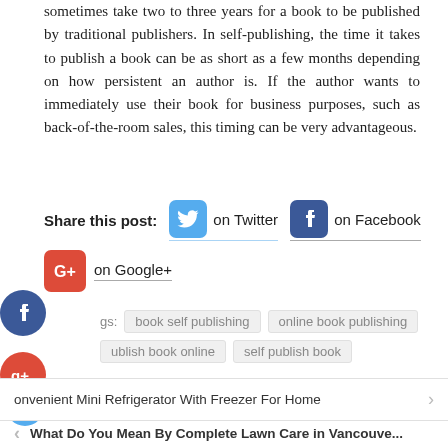sometimes take two to three years for a book to be published by traditional publishers. In self-publishing, the time it takes to publish a book can be as short as a few months depending on how persistent an author is. If the author wants to immediately use their book for business purposes, such as back-of-the-room sales, this timing can be very advantageous.
Share this post: on Twitter on Facebook on Google+
book self publishing
online book publishing
publish book online
self publish book
Convenient Mini Refrigerator With Freezer For Home
What Do You Mean By Complete Lawn Care in Vancouve...